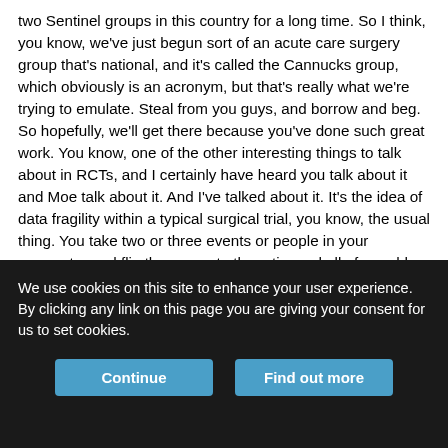two Sentinel groups in this country for a long time. So I think, you know, we've just begun sort of an acute care surgery group that's national, and it's called the Cannucks group, which obviously is an acronym, but that's really what we're trying to emulate. Steal from you guys, and borrow and beg. So hopefully, we'll get there because you've done such great work. You know, one of the other interesting things to talk about in RCTs, and I certainly have heard you talk about it and Moe talk about it. And I've talked about it. It's the idea of data fragility within a typical surgical trial, you know, the usual thing. You take two or three events or people in your numerator and flip them over to the ratio, and all of a sudden your conclusions are very different. How do you evaluate that issue when you're reviewing a paper? And then how do you consider it or contemplate it when you're designing the trial?
Edward Harvey  32:33
We use cookies on this site to enhance your user experience. By clicking any link on this page you are giving your consent for us to set cookies.